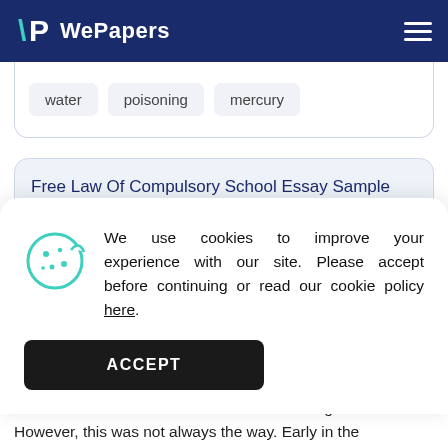WePapers
water
poisoning
mercury
Free Law Of Compulsory School Essay Sample
We use cookies to improve your experience with our site. Please accept before continuing or read our cookie policy here.
ACCEPT
and federal governments. Entire decade programs are dedicated to prepare quality teachers at all levels for students of all ages. However, this was not always the way. Early in the